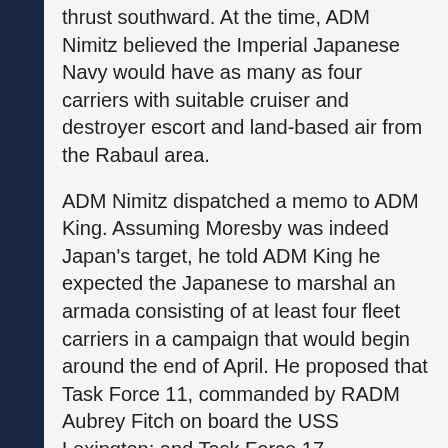thrust southward. At the time, ADM Nimitz believed the Imperial Japanese Navy would have as many as four carriers with suitable cruiser and destroyer escort and land-based air from the Rabaul area.
ADM Nimitz dispatched a memo to ADM King. Assuming Moresby was indeed Japan's target, he told ADM King he expected the Japanese to marshal an armada consisting of at least four fleet carriers in a campaign that would begin around the end of April.  He proposed that Task Force 11, commanded by RADM Aubrey Fitch on board the USS Lexington; and Task Force 17, commanded by RADM Fletcher on board the USS Yorktown be moved into the Coral Sea to block its advance.  As the senior officer of the two Task Forces, RADM Fletcher would be command.
Note: